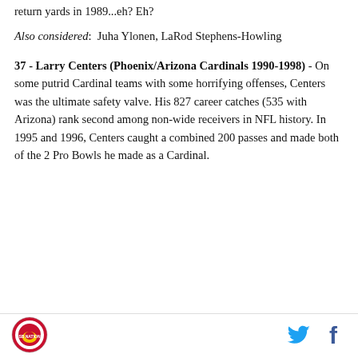return yards in 1989...eh? Eh?
Also considered:  Juha Ylonen, LaRod Stephens-Howling
37 - Larry Centers (Phoenix/Arizona Cardinals 1990-1998) - On some putrid Cardinal teams with some horrifying offenses, Centers was the ultimate safety valve. His 827 career catches (535 with Arizona) rank second among non-wide receivers in NFL history. In 1995 and 1996, Centers caught a combined 200 passes and made both of the 2 Pro Bowls he made as a Cardinal.
[Figure (logo): Site logo circular badge with red and yellow design]
[Figure (logo): Twitter bird icon in cyan blue]
[Figure (logo): Facebook f icon in dark blue]